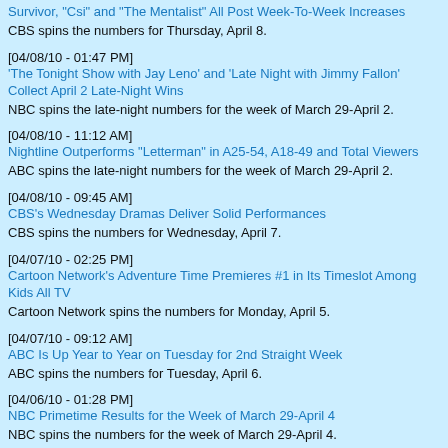Survivor, "Csi" and "The Mentalist" All Post Week-To-Week Increases
CBS spins the numbers for Thursday, April 8.
[04/08/10 - 01:47 PM]
'The Tonight Show with Jay Leno' and 'Late Night with Jimmy Fallon' Collect April 2 Late-Night Wins
NBC spins the late-night numbers for the week of March 29-April 2.
[04/08/10 - 11:12 AM]
Nightline Outperforms "Letterman" in A25-54, A18-49 and Total Viewers
ABC spins the late-night numbers for the week of March 29-April 2.
[04/08/10 - 09:45 AM]
CBS's Wednesday Dramas Deliver Solid Performances
CBS spins the numbers for Wednesday, April 7.
[04/07/10 - 02:25 PM]
Cartoon Network's Adventure Time Premieres #1 in Its Timeslot Among Kids All TV
Cartoon Network spins the numbers for Monday, April 5.
[04/07/10 - 09:12 AM]
ABC Is Up Year to Year on Tuesday for 2nd Straight Week
ABC spins the numbers for Tuesday, April 6.
[04/06/10 - 01:28 PM]
NBC Primetime Results for the Week of March 29-April 4
NBC spins the numbers for the week of March 29-April 4.